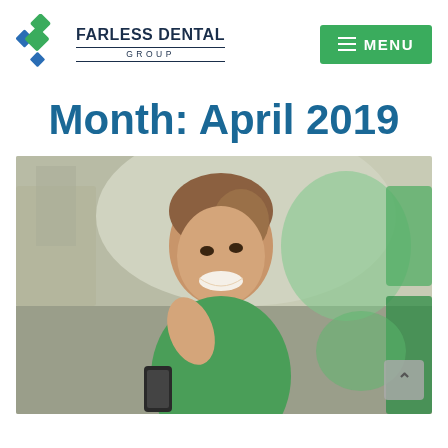[Figure (logo): Farless Dental Group logo with geometric diamond/cross icon in green and blue, company name in dark navy]
[Figure (other): Green MENU button with hamburger icon]
Month: April 2019
[Figure (photo): Young woman smiling, wearing green, looking over her shoulder, holding a phone, blurred outdoor background with green bokeh shapes on the right side. A scroll-up arrow button appears in the lower right corner.]